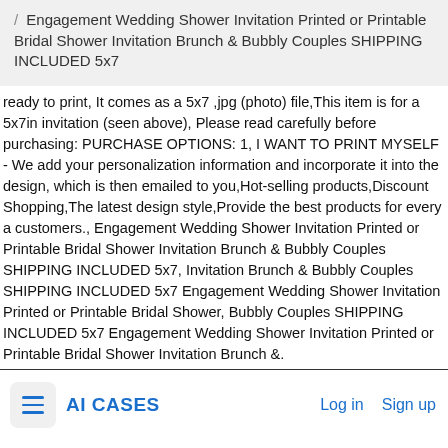/ Engagement Wedding Shower Invitation Printed or Printable Bridal Shower Invitation Brunch & Bubbly Couples SHIPPING INCLUDED 5x7
ready to print, It comes as a 5x7 ,jpg (photo) file,This item is for a 5x7in invitation (seen above), Please read carefully before purchasing: PURCHASE OPTIONS: 1, I WANT TO PRINT MYSELF - We add your personalization information and incorporate it into the design, which is then emailed to you,Hot-selling products,Discount Shopping,The latest design style,Provide the best products for every a customers., Engagement Wedding Shower Invitation Printed or Printable Bridal Shower Invitation Brunch & Bubbly Couples SHIPPING INCLUDED 5x7, Invitation Brunch & Bubbly Couples SHIPPING INCLUDED 5x7 Engagement Wedding Shower Invitation Printed or Printable Bridal Shower, Bubbly Couples SHIPPING INCLUDED 5x7 Engagement Wedding Shower Invitation Printed or Printable Bridal Shower Invitation Brunch &.
AI CASES  Log in  Sign up